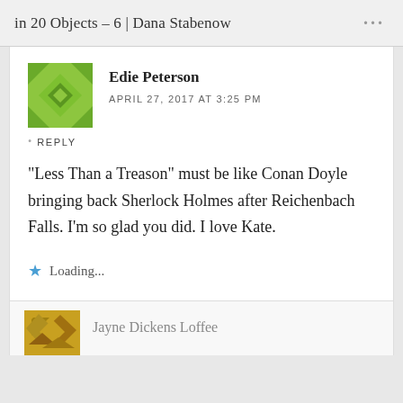in 20 Objects – 6 | Dana Stabenow
Edie Peterson
APRIL 27, 2017 AT 3:25 PM
REPLY
“Less Than a Treason” must be like Conan Doyle bringing back Sherlock Holmes after Reichenbach Falls. I’m so glad you did. I love Kate.
Loading...
Jayne Dickens Loffee